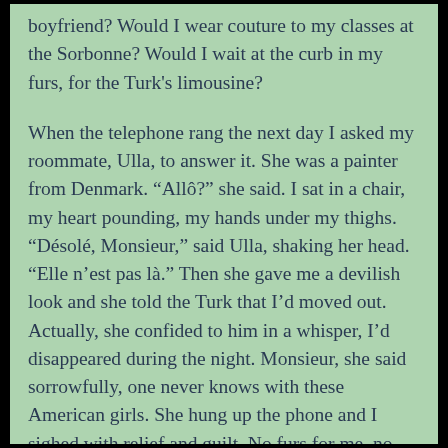boyfriend? Would I wear couture to my classes at the Sorbonne? Would I wait at the curb in my furs, for the Turk's limousine?

When the telephone rang the next day I asked my roommate, Ulla, to answer it. She was a painter from Denmark. “Allô?” she said. I sat in a chair, my heart pounding, my hands under my thighs. “Désolé, Monsieur,” said Ulla, shaking her head. “Elle n’est pas là.” Then she gave me a devilish look and she told the Turk that I’d moved out. Actually, she confided to him in a whisper, I’d disappeared during the night. Monsieur, she said sorrowfully, one never knows with these American girls. She hung up the phone and I sighed with relief and guilt. No furs for me, no limousine.